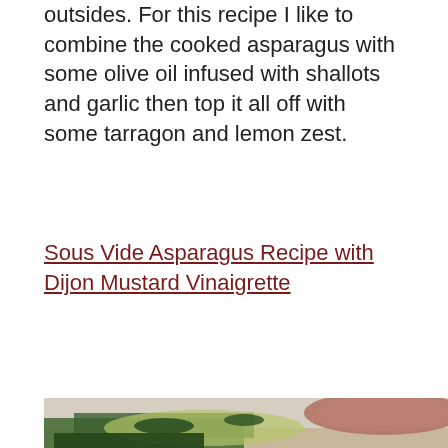outsides. For this recipe I like to combine the cooked asparagus with some olive oil infused with shallots and garlic then top it all off with some tarragon and lemon zest.
Sous Vide Asparagus Recipe with Dijon Mustard Vinaigrette
[Figure (photo): Close-up photo of cooked asparagus with vinaigrette dressing on a white plate, alongside a piece of cooked meat. Green asparagus spears and herbs are prominently visible in the foreground.]